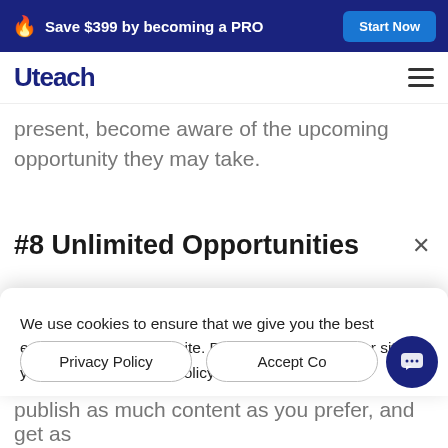🔥 Save $399 by becoming a PRO  [Start Now]
[Figure (logo): Uteach logo with hamburger menu icon]
So, people who are interested in learning present, become aware of the upcoming opportunity they may take.
#8 Unlimited Opportunities
We use cookies to ensure that we give you the best experience on our website. By continuing to use our site you accept our cookie policy Terms.
Privacy Policy   Accept Co
publish as much content as you prefer, and get as